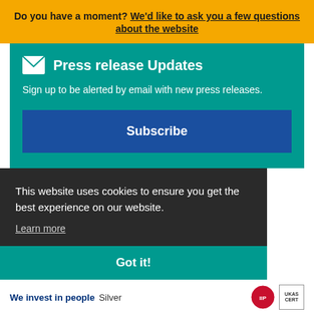Do you have a moment? We'd like to ask you a few questions about the website
Press release Updates
Sign up to be alerted by email with new press releases.
Subscribe
This website uses cookies to ensure you get the best experience on our website.
Learn more
Got it!
We invest in people Silver